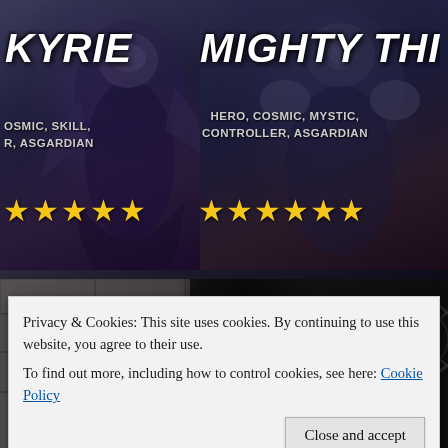[Figure (screenshot): Game screenshot showing two character cards: KYRIE (left) with tags OSMIC, SKILL, R, ASGARDIAN and 5 yellow stars; MIGHTY THI (right, partially cropped) with tags HERO, COSMIC, MYSTIC, CONTROLLER, ASGARDIAN and 6 yellow stars. Below is a stone wall background image with a dark figure on the right edge.]
Privacy & Cookies: This site uses cookies. By continuing to use this website, you agree to their use.
To find out more, including how to control cookies, see here: Cookie Policy
Close and accept